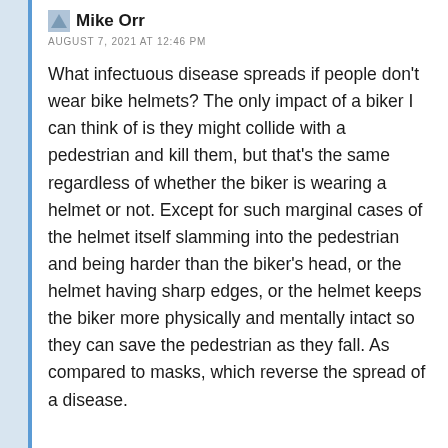Mike Orr
AUGUST 7, 2021 AT 12:46 PM
What infectuous disease spreads if people don't wear bike helmets? The only impact of a biker I can think of is they might collide with a pedestrian and kill them, but that's the same regardless of whether the biker is wearing a helmet or not. Except for such marginal cases of the helmet itself slamming into the pedestrian and being harder than the biker's head, or the helmet having sharp edges, or the helmet keeps the biker more physically and mentally intact so they can save the pedestrian as they fall. As compared to masks, which reverse the spread of a disease.